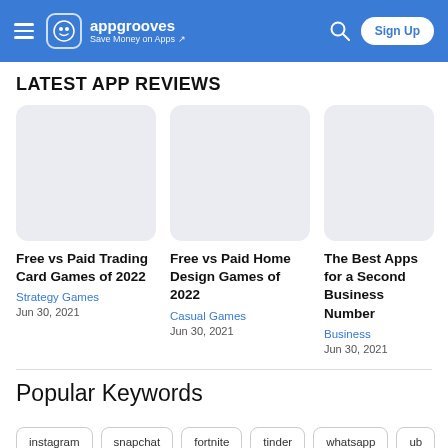appgrooves – Save Money on Apps – Sign Up
LATEST APP REVIEWS
[Figure (screenshot): Placeholder image for Free vs Paid Trading Card Games of 2022 article]
Free vs Paid Trading Card Games of 2022
Strategy Games
Jun 30, 2021
[Figure (screenshot): Placeholder image for Free vs Paid Home Design Games of 2022 article]
Free vs Paid Home Design Games of 2022
Casual Games
Jun 30, 2021
[Figure (screenshot): Partially visible placeholder image for The Best Apps for a Second Business Number article]
The Best Apps for a Second Business Number
Business
Jun 30, 2021
Popular Keywords
instagram
snapchat
fortnite
tinder
whatsapp
ub...